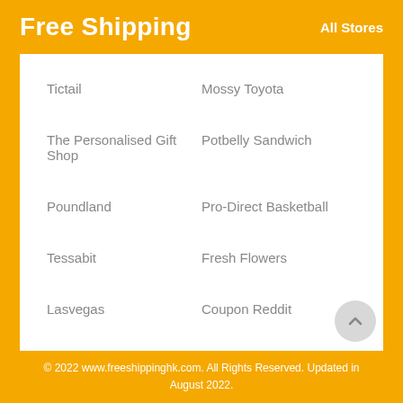Free Shipping
All Stores
Tictail
Mossy Toyota
The Personalised Gift Shop
Potbelly Sandwich
Poundland
Pro-Direct Basketball
Tessabit
Fresh Flowers
Lasvegas
Coupon Reddit
© 2022 www.freeshippinghk.com. All Rights Reserved. Updated in August 2022.